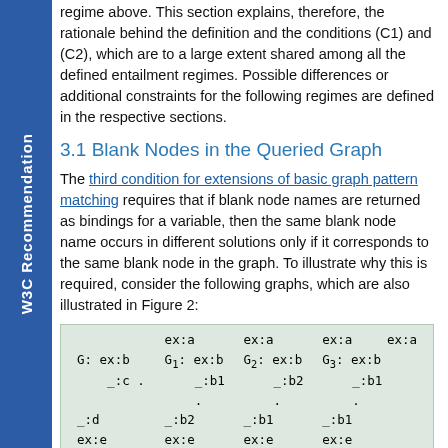W3C Recommendation
regime above. This section explains, therefore, the rationale behind the definition and the conditions (C1) and (C2), which are to a large extent shared among all the defined entailment regimes. Possible differences or additional constraints for the following regimes are defined in the respective sections.
3.1 Blank Nodes in the Queried Graph
The third condition for extensions of basic graph pattern matching requires that if blank node names are returned as bindings for a variable, then the same blank node name occurs in different solutions only if it corresponds to the same blank node in the graph. To illustrate why this is required, consider the following graphs, which are also illustrated in Figure 2:
G: ex:a
ex:b
_:c .

G1: ex:a
ex:b
_:b1
.

_:b2
ex:e

G2: ex:a
ex:b
_:b2
.

_:b1
ex:e

G3: ex:a
ex:b
_:b1
.

_:b1
ex:e

_:d
ex:e